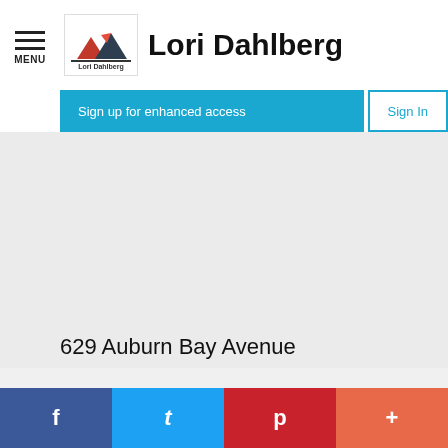Lori Dahlberg
Sign up for enhanced access
Sign In
629 Auburn Bay Avenue
f  t  p  +